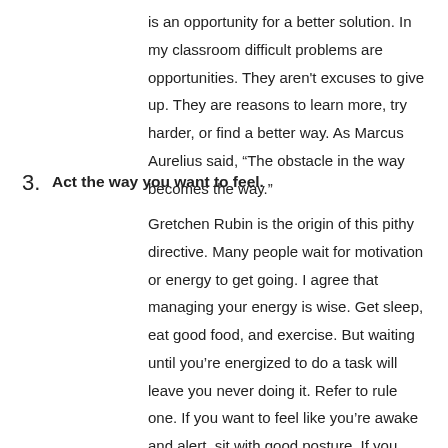is an opportunity for a better solution. In my classroom difficult problems are opportunities. They aren't excuses to give up. They are reasons to learn more, try harder, or find a better way. As Marcus Aurelius said, “The obstacle in the way becomes the way.”
3. Act the way you want to feel.
Gretchen Rubin is the origin of this pithy directive. Many people wait for motivation or energy to get going. I agree that managing your energy is wise. Get sleep, eat good food, and exercise. But waiting until you’re energized to do a task will leave you never doing it. Refer to rule one. If you want to feel like you’re awake and alert, sit with good posture. If you want to feel successful and studious, act successful and studious. If you want to feel smart, ask and answer questions.